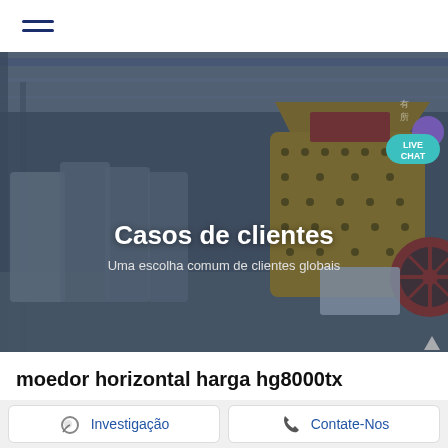☰
[Figure (photo): Industrial factory floor showing large yellow impact crusher/grinder machines lined up in a manufacturing facility. Dark overlay with white text overlay. A live chat badge is visible in the top right corner.]
Casos de clientes
Uma escolha comum de clientes globais
moedor horizontal harga hg8000tx
Investigação
Contate-Nos